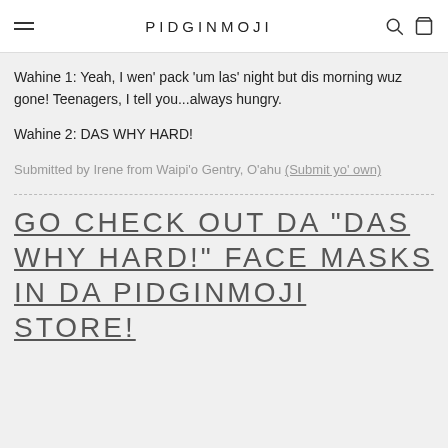PIDGINMOJI
Wahine 1: Yeah, I wen' pack 'um las' night but dis morning wuz gone! Teenagers, I tell you...always hungry.
Wahine 2: DAS WHY HARD!
Submitted by Irene from Waipi'o Gentry, O'ahu (Submit yo' own)
GO CHECK OUT DA "DAS WHY HARD!" FACE MASKS IN DA PIDGINMOJI STORE!